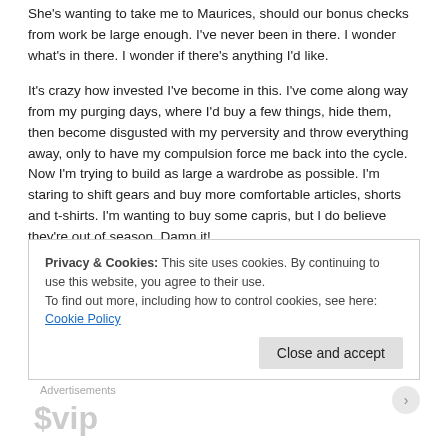She's wanting to take me to Maurices, should our bonus checks from work be large enough. I've never been in there. I wonder what's in there. I wonder if there's anything I'd like.
It's crazy how invested I've become in this. I've come along way from my purging days, where I'd buy a few things, hide them, then become disgusted with my perversity and throw everything away, only to have my compulsion force me back into the cycle. Now I'm trying to build as large a wardrobe as possible. I'm staring to shift gears and buy more comfortable articles, shorts and t-shirts. I'm wanting to buy some capris, but I do believe they're out of season. Damn it!
I brought another person into my circle recently. Actually, I had my bestie tell her husband about me. She told me that he wasn't all to surprised by it. I think he had suspected I was a little on the gay side, so me being transgender wasn't too much of a shock. I'm not gay, by the way, not that it matters. I've come to
Privacy & Cookies: This site uses cookies. By continuing to use this website, you agree to their use.
To find out more, including how to control cookies, see here: Cookie Policy
Close and accept
Advertisements